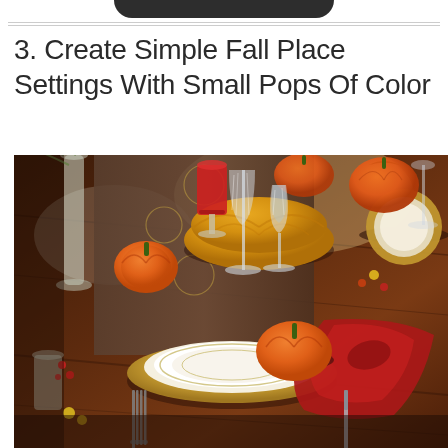3. Create Simple Fall Place Settings With Small Pops Of Color
[Figure (photo): A fall-themed table setting on a dark wood table with orange pumpkins, crystal wine glasses, a red candle, golden plates, red napkin, a gold pumpkin-shaped serving dish, and a brown table runner with gold circle pattern.]